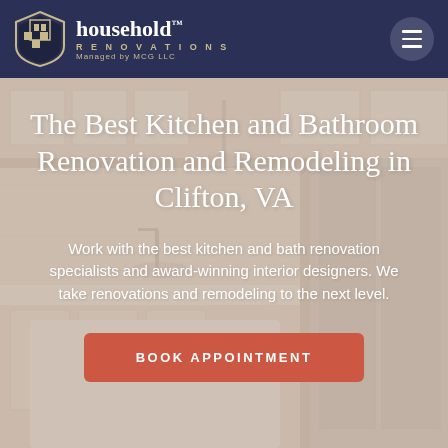household™ RENOVATIONS Managed by MCG LLC
The Best Kitchen and Bathroom Renovation and Remodeling in Clifton, VA
Work with the best kitchen and bath renovation specialists and award-winning interior designers. We take renovations and remodeling to the next level.
BOOK APPOINTMENT